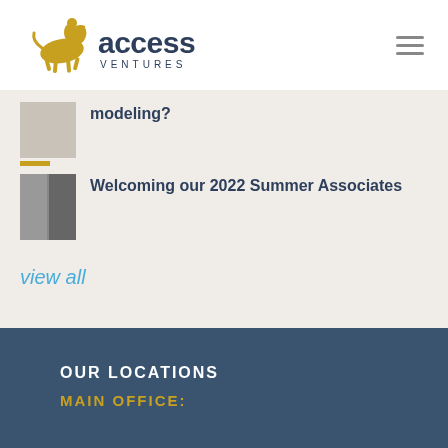[Figure (logo): Access Ventures logo — golden horse and rider silhouette next to bold text 'access' with 'VENTURES' below in smaller caps, dark navy color]
modeling?
Welcoming our 2022 Summer Associates
view all
OUR LOCATIONS
MAIN OFFICE: